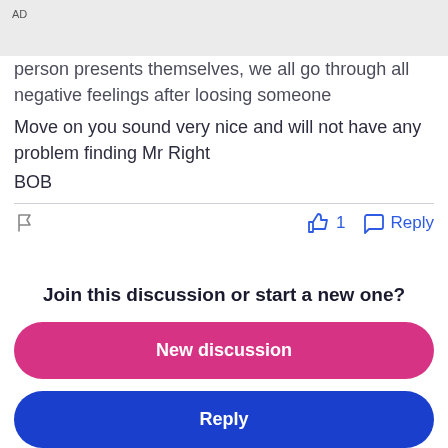AD
person presents themselves, we all go through all negative feelings after loosing someone
Move on you sound very nice and will not have any problem finding Mr Right
BOB
1  Reply
Join this discussion or start a new one?
New discussion
Reply